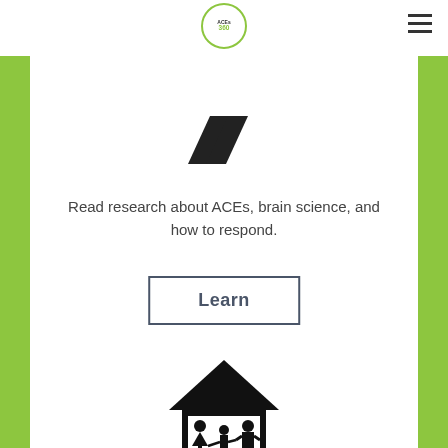ACEs 360
[Figure (logo): ACEs 360 circular logo in green]
[Figure (illustration): Black book/mountain icon at top]
Read research about ACEs, brain science, and how to respond.
Learn
[Figure (illustration): Family inside house icon — two adults and a child holding hands under a roof silhouette]
Build understanding and find solutions in your area of